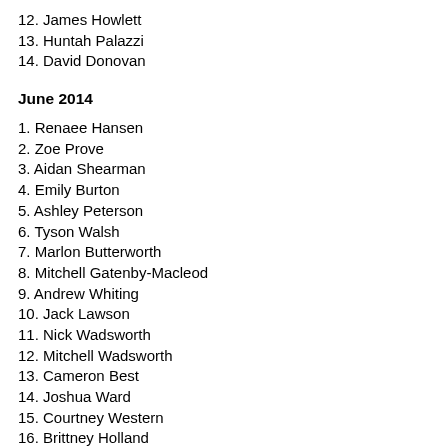12. James Howlett
13. Huntah Palazzi
14. David Donovan
June 2014
1. Renaee Hansen
2. Zoe Prove
3. Aidan Shearman
4. Emily Burton
5. Ashley Peterson
6. Tyson Walsh
7. Marlon Butterworth
8. Mitchell Gatenby-Macleod
9. Andrew Whiting
10. Jack Lawson
11. Nick Wadsworth
12. Mitchell Wadsworth
13. Cameron Best
14. Joshua Ward
15. Courtney Western
16. Brittney Holland
17. Kiah Hawker
18. Aaron Clifford
19. Chelsey Sorensen
20. Kate Douty
21. Carlin Rendall
22. Kayla Stokes
23. Tom Goodwin